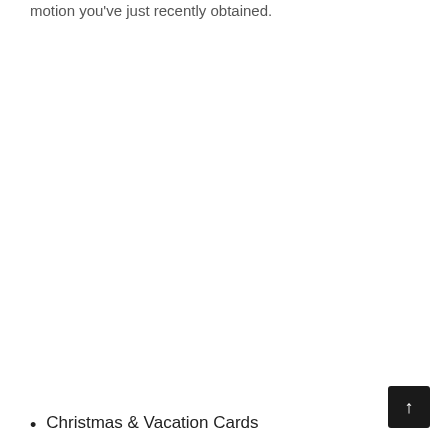motion you've just recently obtained.
Christmas & Vacation Cards